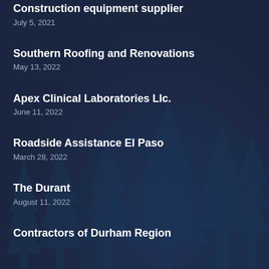Construction equipment supplier
July 5, 2021
Southern Roofing and Renovations
May 13, 2022
Apex Clinical Laboratories Llc.
June 11, 2022
Roadside Assistance El Paso
March 28, 2022
The Durant
August 11, 2022
Contractors of Durham Region